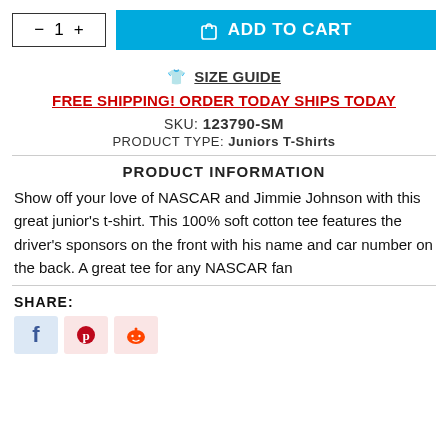- 1 + | ADD TO CART
SIZE GUIDE
FREE SHIPPING! ORDER TODAY SHIPS TODAY
SKU: 123790-SM
PRODUCT TYPE: Juniors T-Shirts
PRODUCT INFORMATION
Show off your love of NASCAR and Jimmie Johnson with this great junior's t-shirt. This 100% soft cotton tee features the driver's sponsors on the front with his name and car number on the back. A great tee for any NASCAR fan
SHARE:
[Figure (other): Social share buttons: Facebook (f), Pinterest (p), Reddit (r)]